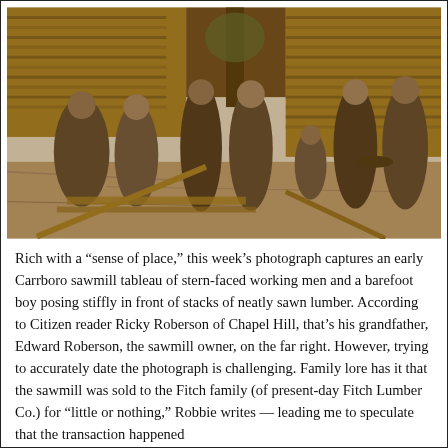[Figure (photo): Sepia-toned historical photograph of stern-faced working men and a barefoot boy posing stiffly in front of stacks of neatly sawn lumber at an early Carrboro sawmill. Several men in overalls stand and sit, with a young boy crouching in the middle. Lumber stacks and wooden structures visible in the background.]
Rich with a “sense of place,” this week’s photograph captures an early Carrboro sawmill tableau of stern-faced working men and a barefoot boy posing stiffly in front of stacks of neatly sawn lumber. According to Citizen reader Ricky Roberson of Chapel Hill, that’s his grandfather, Edward Roberson, the sawmill owner, on the far right. However, trying to accurately date the photograph is challenging. Family lore has it that the sawmill was sold to the Fitch family (of present-day Fitch Lumber Co.) for “little or nothing,” Robbie writes — leading me to speculate that the transaction happened